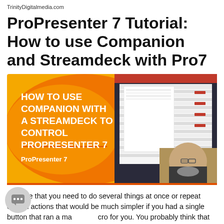TrinityDigitalmedia.com
ProPresenter 7 Tutorial: How to use Companion and Streamdeck with Pro7
[Figure (screenshot): Tutorial video thumbnail showing 'HOW TO USE COMPANION WITH A STREAMDECK TO CONTROL PROPRESENTER 7' on an orange/yellow background with a screenshot of ProPresenter 7 software and a person's face in the lower right corner. Text 'ProPresenter 7' appears at the bottom left.]
Imagine that you need to do several things at once or repeat certain actions that would be much simpler if you had a single button that ran a macro for you. You probably think that programming such a macro would be hard, but you'd be wrong. With Companion from Bitfocus.io